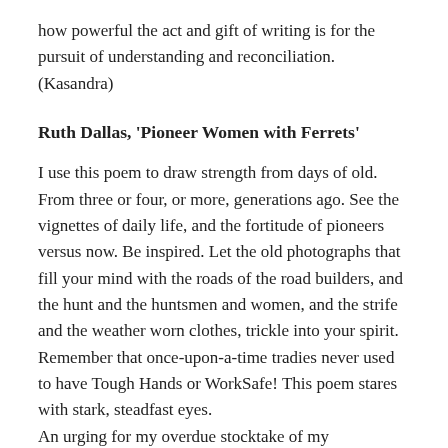how powerful the act and gift of writing is for the pursuit of understanding and reconciliation. (Kasandra)
Ruth Dallas, 'Pioneer Women with Ferrets'
I use this poem to draw strength from days of old. From three or four, or more, generations ago. See the vignettes of daily life, and the fortitude of pioneers versus now. Be inspired. Let the old photographs that fill your mind with the roads of the road builders, and the hunt and the huntsmen and women, and the strife and the weather worn clothes, trickle into your spirit. Remember that once-upon-a-time tradies never used to have Tough Hands or WorkSafe! This poem stares with stark, steadfast eyes.
An urging for my overdue stocktake of my whakahautanga (self-mastery), I use this poem in times of disillusionment to fortify, survive, and soldier on. (Kasandra)